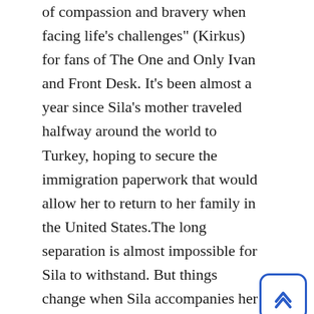of compassion and bravery when facing life's challenges" (Kirkus) for fans of The One and Only Ivan and Front Desk. It's been almost a year since Sila's mother traveled halfway around the world to Turkey, hoping to secure the immigration paperwork that would allow her to return to her family in the United States.The long separation is almost impossible for Sila to withstand. But things change when Sila accompanies her father (who is a mechanic) outside their Oregon town to fix a truck. There, behind an enormous stone wall, she meets a grandfatherly man who only months before won the state lottery. Their new alliance leads to the rescue of a circus elephant named Veda, and then to a friendship with an unusual boy named Mateo, proving that comfort and hope come in the most unlikely of places. A moving story of family separation and the importance of the connection between animals and humans, this novel has the enormous heart and uplifting humor that readers have come to expect